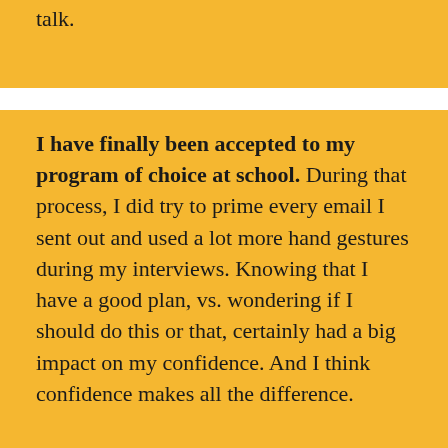talk.
I have finally been accepted to my program of choice at school. During that process, I did try to prime every email I sent out and used a lot more hand gestures during my interviews. Knowing that I have a good plan, vs. wondering if I should do this or that, certainly had a big impact on my confidence. And I think confidence makes all the difference.